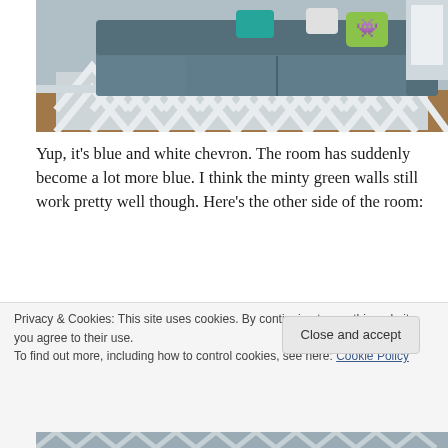[Figure (photo): A blue/grey sectional sofa with decorative pillows including a chevron-patterned green pillow, sitting on a grey and white chevron-patterned area rug on hardwood floors.]
Yup, it's blue and white chevron. The room has suddenly become a lot more blue. I think the minty green walls still work pretty well though. Here’s the other side of the room:
[Figure (photo): Partial view of the other side of the living room with grey curtains and dark TV/entertainment unit visible.]
Privacy & Cookies: This site uses cookies. By continuing to use this website, you agree to their use.
To find out more, including how to control cookies, see here: Cookie Policy
[Figure (photo): Bottom sliver of a second living room photo showing a chevron rug.]